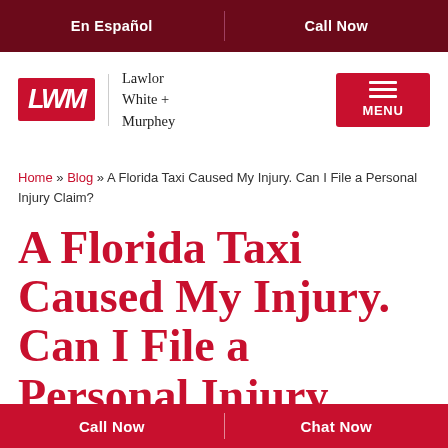En Español | Call Now
[Figure (logo): Lawlor White + Murphey law firm logo with red LWM monogram and menu button]
Home » Blog » A Florida Taxi Caused My Injury. Can I File a Personal Injury Claim?
A Florida Taxi Caused My Injury. Can I File a Personal Injury Claim?
Call Now | Chat Now